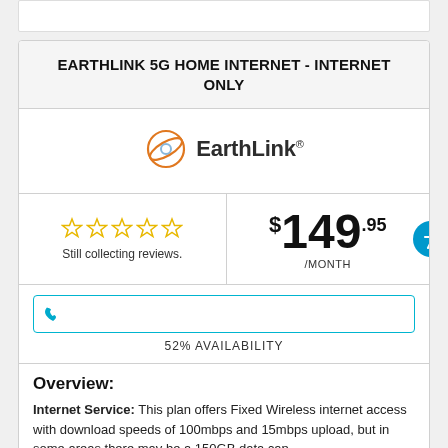EARTHLINK 5G HOME INTERNET - INTERNET ONLY
[Figure (logo): EarthLink logo with orange orbital ring icon and text 'EarthLink' with registered trademark symbol]
Still collecting reviews.
$149.95 /MONTH
52% AVAILABILITY
Overview:
Internet Service: This plan offers Fixed Wireless internet access with download speeds of 100mbps and 15mbps upload, but in some areas there may be a 150GB data cap.